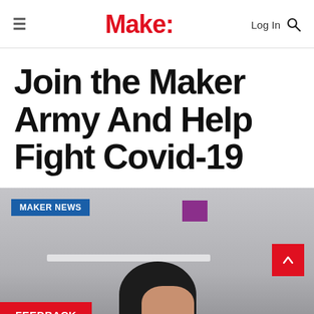≡  Make:  Log In 🔍
Join the Maker Army And Help Fight Covid-19
[Figure (photo): Photo of a person with curly dark hair in a room with a whiteboard, with a purple sticky note on the board. Badge reading MAKER NEWS in top left. Scroll-up button in red on the right. FEEDBACK button in red at bottom left.]